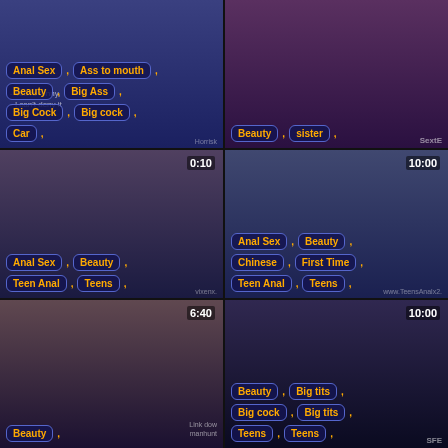[Figure (screenshot): Video grid cell 1 - tags: Anal Sex, Ass to mouth, Beauty, Big Ass, Big Cock, Big cock, Car]
[Figure (screenshot): Video grid cell 2 - tags: Beauty, sister]
[Figure (screenshot): Video grid cell 3 - timer 0:10, tags: Anal Sex, Beauty, Teen Anal, Teens]
[Figure (screenshot): Video grid cell 4 - timer 10:00, tags: Anal Sex, Beauty, Chinese, First Time, Teen Anal, Teens]
[Figure (screenshot): Video grid cell 5 - timer 6:40, tags: Beauty]
[Figure (screenshot): Video grid cell 6 - timer 10:00, tags: Beauty, Big tits, Big cock, Big tits, Teens, Teens]